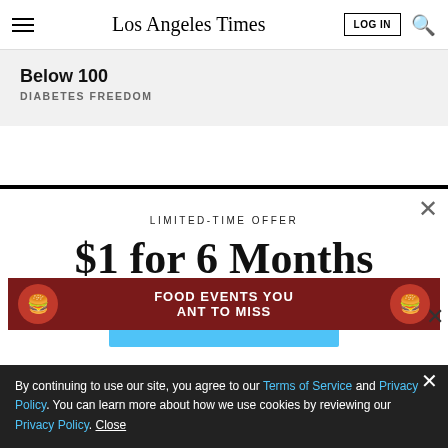Los Angeles Times
Below 100
DIABETES FREEDOM
LIMITED-TIME OFFER
$1 for 6 Months
SUBSCRIBE NOW
FOOD EVENTS YOU ANT TO MISS
By continuing to use our site, you agree to our Terms of Service and Privacy Policy. You can learn more about how we use cookies by reviewing our Privacy Policy. Close